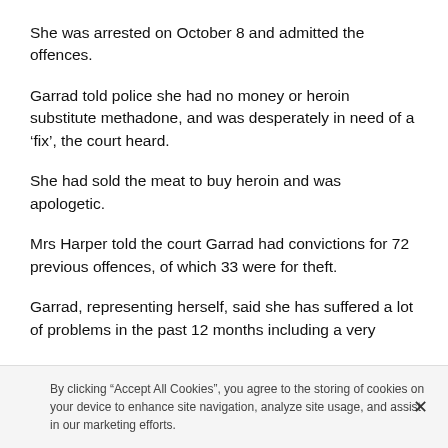She was arrested on October 8 and admitted the offences.
Garrad told police she had no money or heroin substitute methadone, and was desperately in need of a ‘fix’, the court heard.
She had sold the meat to buy heroin and was apologetic.
Mrs Harper told the court Garrad had convictions for 72 previous offences, of which 33 were for theft.
Garrad, representing herself, said she has suffered a lot of problems in the past 12 months including a very
By clicking “Accept All Cookies”, you agree to the storing of cookies on your device to enhance site navigation, analyze site usage, and assist in our marketing efforts.